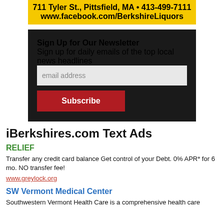[Figure (other): Berkshire Liquors banner ad: yellow background with colorful liquor bottles at top, text '711 Tyler St., Pittsfield, MA • 413-499-7111' and 'www.facebook.com/BerkshireLiquors']
[Figure (other): Newsletter sign-up box with dark background. Title: 'Sign Up for Our Newsletter'. Description: 'Sign up for daily emails of the top local news headlines'. Email address input field and Subscribe button.]
iBerkshires.com Text Ads
RELIEF
Transfer any credit card balance Get control of your Debt. 0% APR* for 6 mo. NO transfer fee!
www.greylock.org
SW Vermont Medical Center
Southwestern Vermont Health Care is a comprehensive health care